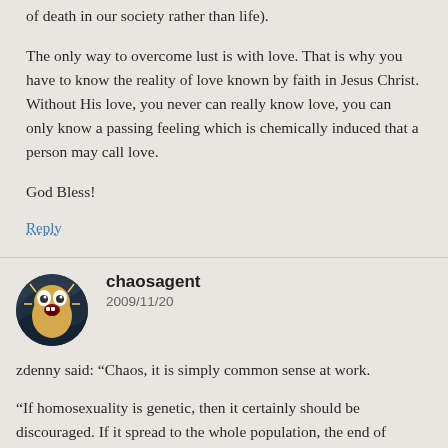of death in our society rather than life).
The only way to overcome lust is with love. That is why you have to know the reality of love known by faith in Jesus Christ. Without His love, you never can really know love, you can only know a passing feeling which is chemically induced that a person may call love.
God Bless!
Reply
chaosagent
2009/11/20
zdenny said: “Chaos, it is simply common sense at work.

“If homosexuality is genetic, then it certainly should be discouraged. If it spread to the whole population, the end of humanity would occur. In fact, if you universalize